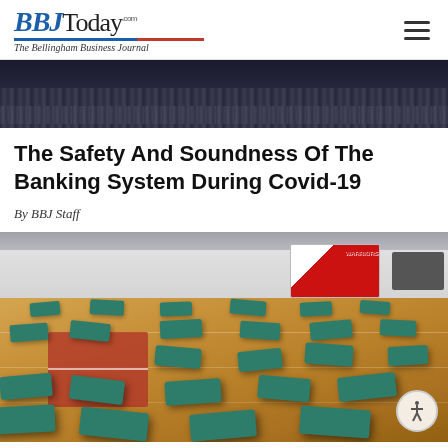BBJToday.com — The Bellingham Business Journal
[Figure (photo): Dark crowd scene image at top of article]
The Safety And Soundness Of The Banking System During Covid-19
By BBJ Staff
[Figure (photo): Gymnasium floor with green sleeping mats spread out, white walls, red and white team banner on wall, wood court floor with red center marking]